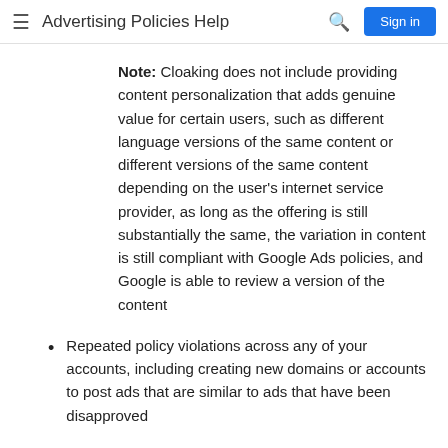Advertising Policies Help
Note: Cloaking does not include providing content personalization that adds genuine value for certain users, such as different language versions of the same content or different versions of the same content depending on the user's internet service provider, as long as the offering is still substantially the same, the variation in content is still compliant with Google Ads policies, and Google is able to review a version of the content
Repeated policy violations across any of your accounts, including creating new domains or accounts to post ads that are similar to ads that have been disapproved